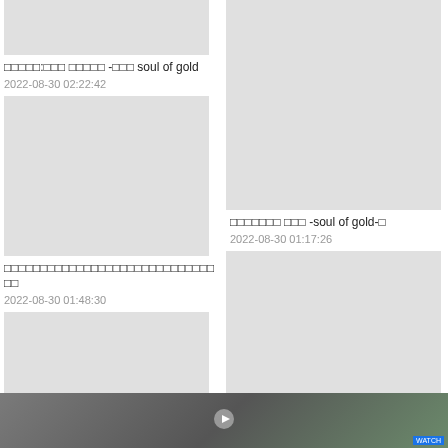[Figure (photo): Gray placeholder thumbnail top left]
□□□□□:□□□ □□□□□ -□□□ soul of gold
2022-08-30 02:22:42
[Figure (photo): Gray placeholder thumbnail middle left]
□□□□□□□□□□□□□□□□□□□□□□□□□□□□□
2022-08-30 01:48:30
[Figure (photo): Gray placeholder thumbnail bottom left partial]
[Figure (photo): Gray placeholder thumbnail top right]
□□□□□□□ □□□ -soul of gold-□
2022-08-30 01:17:26
[Figure (photo): Gray placeholder thumbnail bottom right]
seiya general) 69 □□□□□-□□□ (soul of gold) 69 [pan
[Figure (photo): Bottom strip photo showing people]